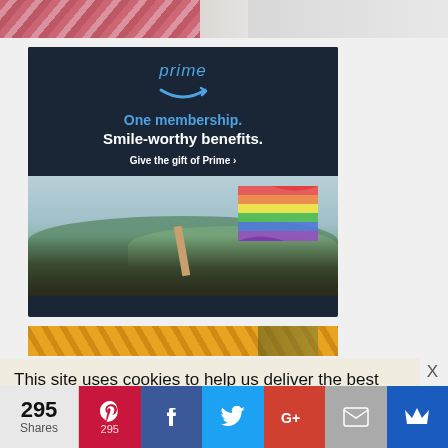[Figure (photo): Top partial image showing colorful items on gray background]
[Figure (photo): Amazon Prime advertisement: dark navy background with 'prime' logo in blue, text 'One membership. Smile-worthy benefits. Give the gift of Prime' and photo of friends celebrating with rainbow flag]
[Figure (photo): Partial yellow/gold banner image below ad]
This site uses cookies to help us deliver the best user experience. By continuing on this
[Figure (infographic): Social share bar with 295 Shares, Pinterest, Facebook, Twitter, Google+, Email, and Crown icons]